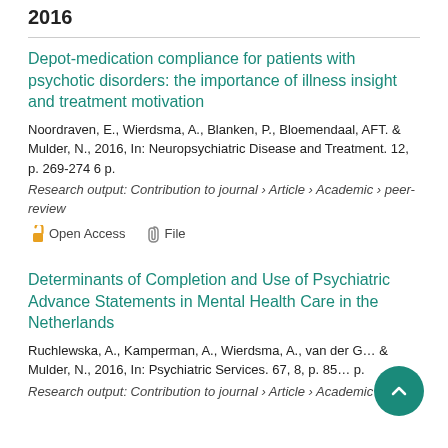2016
Depot-medication compliance for patients with psychotic disorders: the importance of illness insight and treatment motivation
Noordraven, E., Wierdsma, A., Blanken, P., Bloemendaal, AFT. & Mulder, N., 2016, In: Neuropsychiatric Disease and Treatment. 12, p. 269-274 6 p.
Research output: Contribution to journal › Article › Academic › peer-review
Open Access   File
Determinants of Completion and Use of Psychiatric Advance Statements in Mental Health Care in the Netherlands
Ruchlewska, A., Kamperman, A., Wierdsma, A., van der G... & Mulder, N., 2016, In: Psychiatric Services. 67, 8, p. 85... p.
Research output: Contribution to journal › Article › Academic › peer-